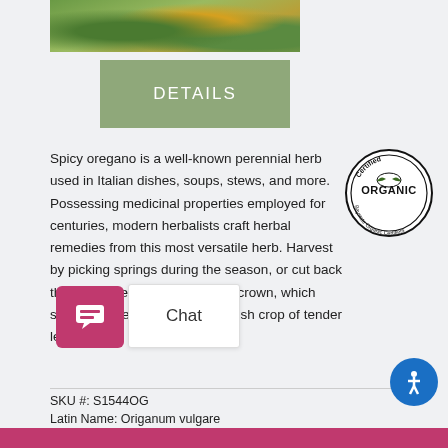[Figure (photo): Photo of herb garden with green and yellow flowering plants]
DETAILS
Spicy oregano is a well-known perennial herb used in Italian dishes, soups, stews, and more. Possessing medicinal properties employed for centuries, modern herbalists craft herbal remedies from this most versatile herb. Harvest by picking springs during the season, or cut back the lot to a few inches from the crown, which stimulates new growth and a fresh crop of tender leaves.
[Figure (logo): Certified Organic seal - Baystate Organic Certifiers]
SKU #: S1544OG
Latin Name: Origanum vulgare
Product Type: Seed Packet
Availability: In Stock
$3.00
[Figure (screenshot): Chat widget with speech bubble icon and Chat label]
[Figure (other): Accessibility button (blue circle with person icon)]